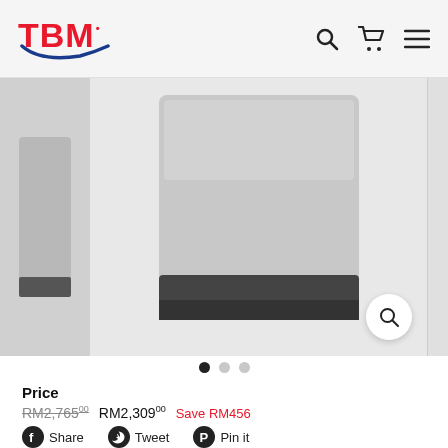TBM
[Figure (photo): Product image of a silver top-load washing machine shown from a partial angle, with dark base. A zoom/search icon button is visible at the bottom right of the main image area. Left and right thumbnail strips are visible.]
Price
RM2,765.00  RM2,309.00  Save RM456
Share  Tweet  Pin it
In stock, ready to ship
Quantity